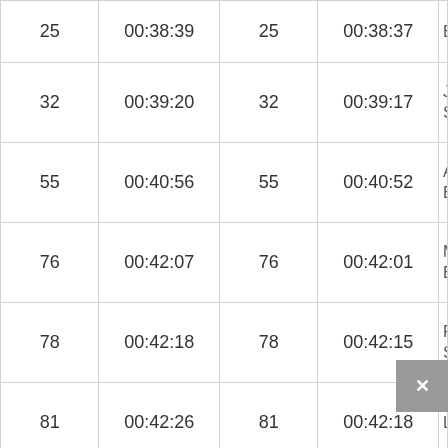|  |  |  |  |  |
| --- | --- | --- | --- | --- |
| 25 | 00:38:39 | 25 | 00:38:37 | Broc |
| 32 | 00:39:20 | 32 | 00:39:17 | Jam
Store |
| 55 | 00:40:56 | 55 | 00:40:52 | Adar
Broo |
| 76 | 00:42:07 | 76 | 00:42:01 | Malc
Bagg |
| 78 | 00:42:18 | 78 | 00:42:15 | Russ
Steve |
| 81 | 00:42:26 | 81 | 00:42:18 | Laur |
| 86 | 00:42:40 | 86 | 00:42:34 | Neil
Scho |
|  |  |  |  |  |